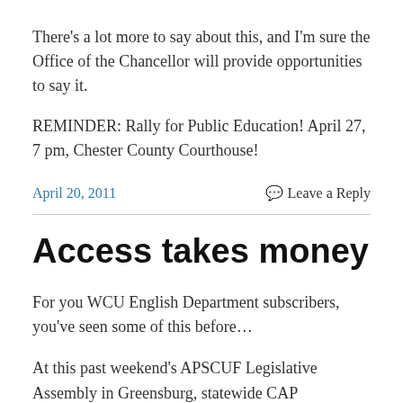There's a lot more to say about this, and I'm sure the Office of the Chancellor will provide opportunities to say it.
REMINDER: Rally for Public Education! April 27, 7 pm, Chester County Courthouse!
April 20, 2011
Leave a Reply
Access takes money
For you WCU English Department subscribers, you've seen some of this before…
At this past weekend's APSCUF Legislative Assembly in Greensburg, statewide CAP (Committee for Action through Politics) chair Brad Wilson provided delegates with a